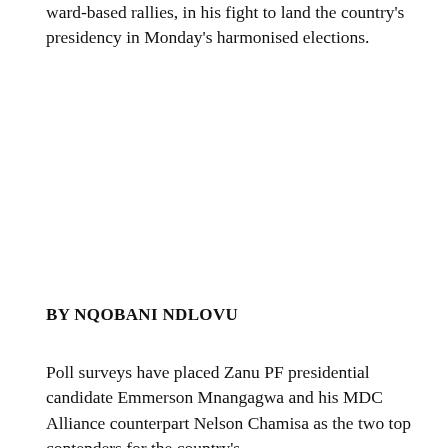ward-based rallies, in his fight to land the country's presidency in Monday's harmonised elections.
BY NQOBANI NDLOVU
Poll surveys have placed Zanu PF presidential candidate Emmerson Mnangagwa and his MDC Alliance counterpart Nelson Chamisa as the two top contenders for the country's